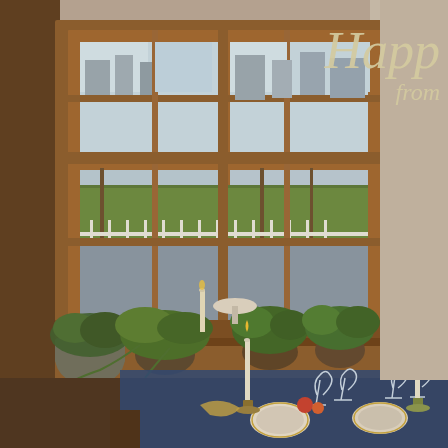[Figure (photo): Interior dining room scene with a large wooden-framed double-hung window with 12 panes showing bare winter trees and buildings outside. A windowsill holds several potted green plants. In the foreground is a dining table set with a blue tablecloth, crystal glasses, white taper candles in candlesticks, and plates. A wooden chair is visible. The room has warm brown woodwork and cream/grey walls. Overlaid script text in the upper right reads 'Happ' and 'from' in an ivory/gold cursive font.]